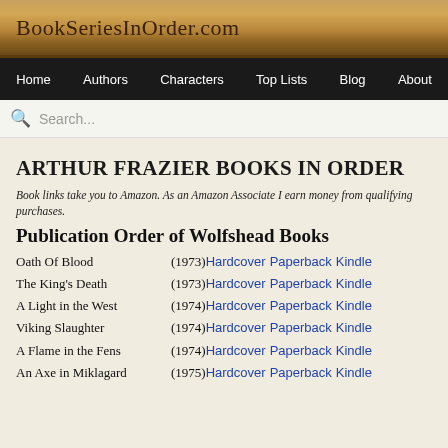BookSeriesInOrder.com
Home | Authors | Characters | Top Lists | Blog | About
ARTHUR FRAZIER BOOKS IN ORDER
Book links take you to Amazon. As an Amazon Associate I earn money from qualifying purchases.
Publication Order of Wolfshead Books
Oath Of Blood (1973) Hardcover Paperback Kindle
The King's Death (1973) Hardcover Paperback Kindle
A Light in the West (1974) Hardcover Paperback Kindle
Viking Slaughter (1974) Hardcover Paperback Kindle
A Flame in the Fens (1974) Hardcover Paperback Kindle
An Axe in Miklagard (1975) Hardcover Paperback Kindle